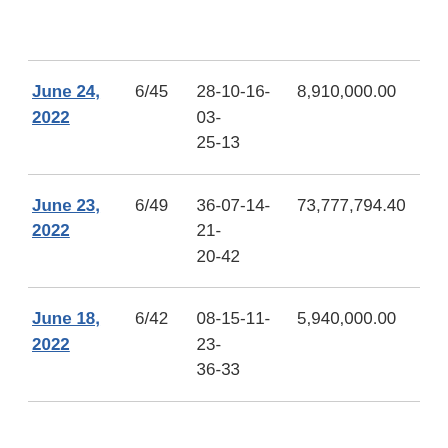| Date | Type | Numbers | Prize |
| --- | --- | --- | --- |
| June 24, 2022 | 6/45 | 28-10-16-03-25-13 | 8,910,000.00 |
| June 23, 2022 | 6/49 | 36-07-14-21-20-42 | 73,777,794.40 |
| June 18, 2022 | 6/42 | 08-15-11-23-36-33 | 5,940,000.00 |